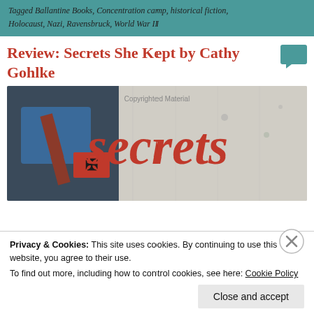Tagged Ballantine Books, Concentration camp, historical fiction, Holocaust, Nazi, Ravensbruck, World War II
Review: Secrets She Kept by Cathy Gohlke
[Figure (photo): Book cover for 'Secrets She Kept' by Cathy Gohlke showing the word 'secrets' in large red text over a black and white background with a Nazi armband visible. Watermark reads 'Copyrighted Material'.]
Privacy & Cookies: This site uses cookies. By continuing to use this website, you agree to their use.
To find out more, including how to control cookies, see here: Cookie Policy